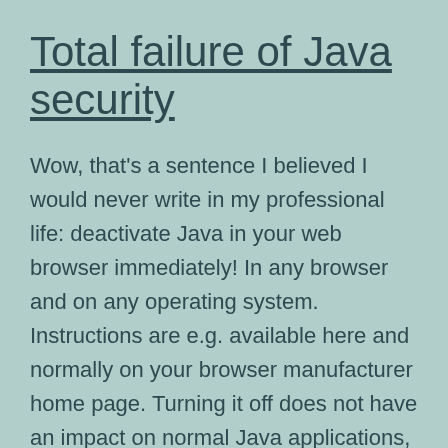Total failure of Java security
Wow, that’s a sentence I believed I would never write in my professional life: deactivate Java in your web browser immediately! In any browser and on any operating system. Instructions are e.g. available here and normally on your browser manufacturer home page. Turning it off does not have an impact on normal Java applications, those… Continue reading